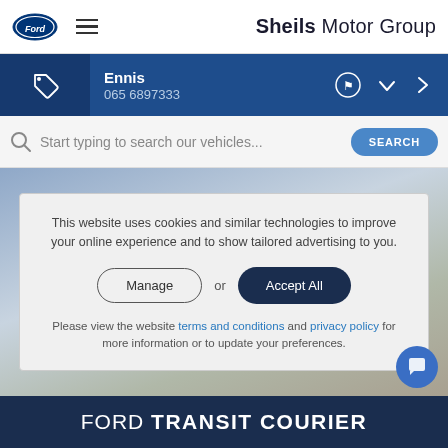Sheils Motor Group
Ennis
065 6897333
Start typing to search our vehicles...
This website uses cookies and similar technologies to improve your online experience and to show tailored advertising to you.
Manage or Accept All
Please view the website terms and conditions and privacy policy for more information or to update your preferences.
FORD TRANSIT COURIER